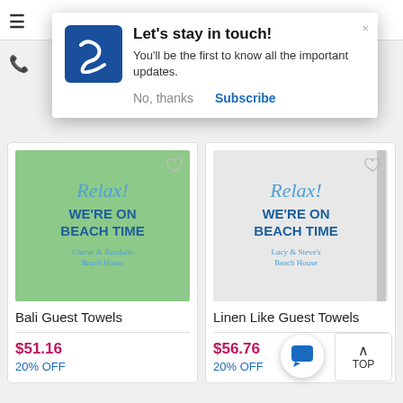[Figure (screenshot): Popup notification with logo saying Let's stay in touch with Subscribe and No thanks options]
Let's stay in touch!
You'll be the first to know all the important updates.
No, thanks
Subscribe
[Figure (photo): Bali Guest Towels - green towel with Relax! We're on Beach Time design, Cherie & Randall's Beach House]
Bali Guest Towels
$51.16
20% OFF
[Figure (photo): Linen Like Guest Towels - white/gray towel with Relax! We're on Beach Time design, Lucy & Steve's Beach House]
Linen Like Guest Towels
$56.76
20% OFF